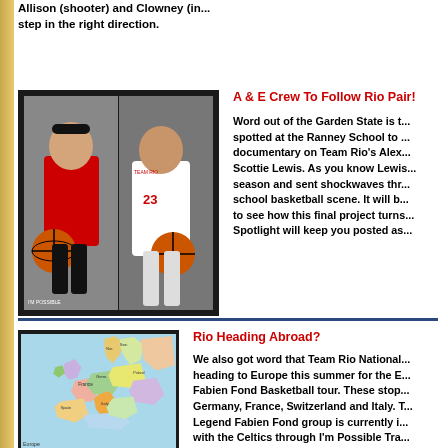Allison (shooter) and Clowney (in... step in the right direction.
A & E Crew To Follow Rio Pair!
[Figure (photo): Two basketball players in red Team Rio uniforms posing with basketballs]
Word out of the Garden State is that an A & E crew was spotted at the Ranney School to follow up on a possible documentary on Team Rio's Alex Klatsky and Scottie Lewis. As you know Lewis had a tremendous season and sent shockwaves through the NJ high school basketball scene. It will be very interesting to see how this final project turns out. NJ Hoops Spotlight will keep you posted as...
Rio Heading Abroad?
[Figure (map): Colorful political map of Europe showing country boundaries]
We also got word that Team Rio Nationals will be heading to Europe this summer for the Euro Legend Fabien Fond Basketball tour. These stops include Germany, France, Switzerland and Italy. The Euro Legend Fabien Fond group is currently in partnership with the Celtics through I'm Possible Training. Should be an interesting experience for these yo...